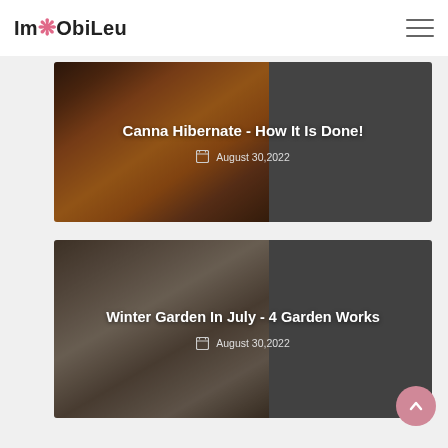ImObiLeu
[Figure (photo): Blog card with orange canna flower photo on left half and grey background on right half]
Canna Hibernate - How It Is Done!
August 30,2022
[Figure (photo): Blog card with snowy winter garden/greenhouse photo on left half and grey background on right half]
Winter Garden In July - 4 Garden Works
August 30,2022